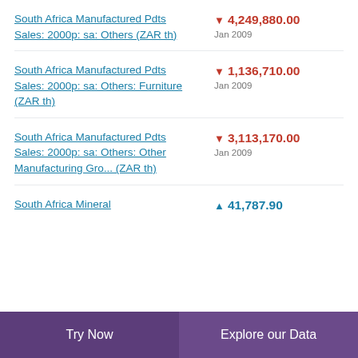South Africa Manufactured Pdts Sales: 2000p: sa: Others (ZAR th)
South Africa Manufactured Pdts Sales: 2000p: sa: Others: Furniture (ZAR th)
South Africa Manufactured Pdts Sales: 2000p: sa: Others: Other Manufacturing Gro... (ZAR th)
South Africa Mineral
Try Now   Explore our Data